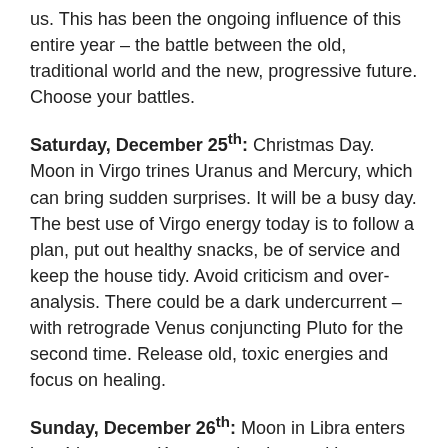us. This has been the ongoing influence of this entire year – the battle between the old, traditional world and the new, progressive future. Choose your battles.
Saturday, December 25th: Christmas Day. Moon in Virgo trines Uranus and Mercury, which can bring sudden surprises. It will be a busy day. The best use of Virgo energy today is to follow a plan, put out healthy snacks, be of service and keep the house tidy. Avoid criticism and over-analysis. There could be a dark undercurrent – with retrograde Venus conjuncting Pluto for the second time. Release old, toxic energies and focus on healing.
Sunday, December 26th: Moon in Libra enters her 4th quarter. Kwanzaa begins, and in England it's Boxing Day. The Moon trines Venus and Pluto today, bringing positive developments to the themes of this week. Mercury also sextiles Neptune which allows our minds to wander and be inspired. Spend quality time with the ones you love.